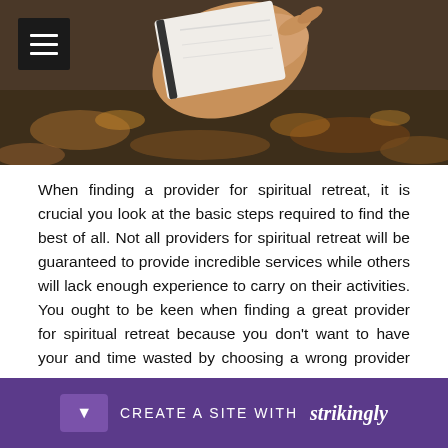[Figure (photo): Person holding a book or notebook outdoors, with autumn leaves in background. Dark menu/hamburger button in top left corner.]
When finding a provider for spiritual retreat, it is crucial you look at the basic steps required to find the best of all. Not all providers for spiritual retreat will be guaranteed to provide incredible services while others will lack enough experience to carry on their activities. You ought to be keen when finding a great provider for spiritual retreat because you don't want to have your and time wasted by choosing a wrong provider for spiritual retreat. There are diffe
[Figure (screenshot): Strikingly website builder promotional bar at the bottom: purple background with dropdown arrow button, 'CREATE A SITE WITH strikingly' text in white.]